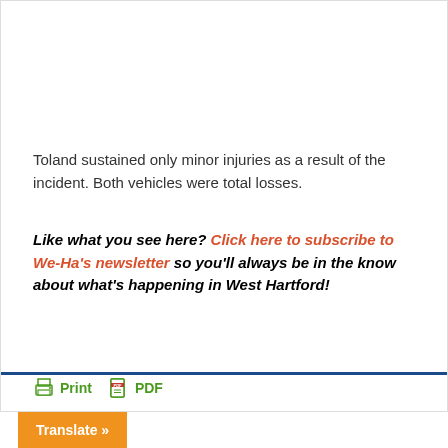Toland sustained only minor injuries as a result of the incident. Both vehicles were total losses.
Like what you see here? Click here to subscribe to We-Ha's newsletter so you'll always be in the know about what's happening in West Hartford!
[Figure (other): Print and PDF icons with labels: green printer icon with 'Print' label, green PDF document icon with 'PDF' label]
Translate »